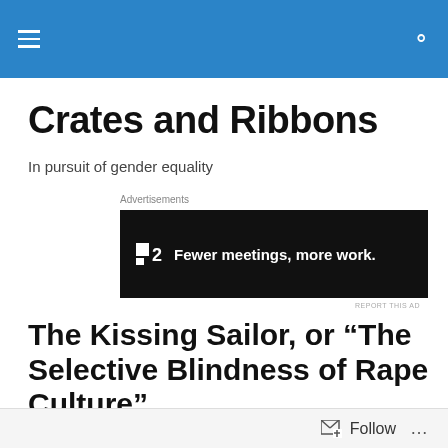Crates and Ribbons — navigation bar
Crates and Ribbons
In pursuit of gender equality
Advertisements
[Figure (other): Advertisement banner: P2 logo with text 'Fewer meetings, more work.' on black background]
The Kissing Sailor, or “The Selective Blindness of Rape Culture”
[Figure (photo): Three black and white photographs partially visible at bottom of page]
Follow